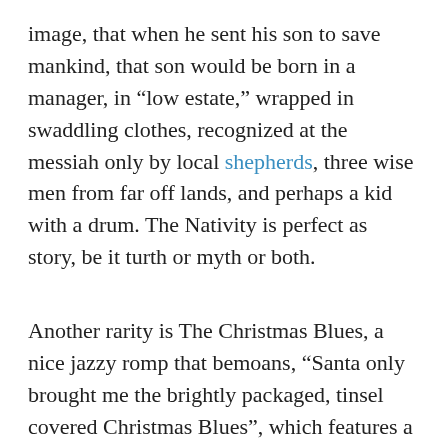image, that when he sent his son to save mankind, that son would be born in a manager, in “low estate,” wrapped in swaddling clothes, recognized at the messiah only by local shepherds, three wise men from far off lands, and perhaps a kid with a drum. The Nativity is perfect as story, be it turth or myth or both.
Another rarity is The Christmas Blues, a nice jazzy romp that bemoans, “Santa only brought me the brightly packaged, tinsel covered Christmas Blues”, which features a harmonica riff. Harmonica playing has been rare for America’s bard during this, his late period phase. More importantly, he touches on the melancholy feelings (he also sings I'll Be Home For Christmas) that the holidays also bring and as blues music teaches, humor is the best way to survive sorrow.
Well soon it will be Christmas day. I might be listening to